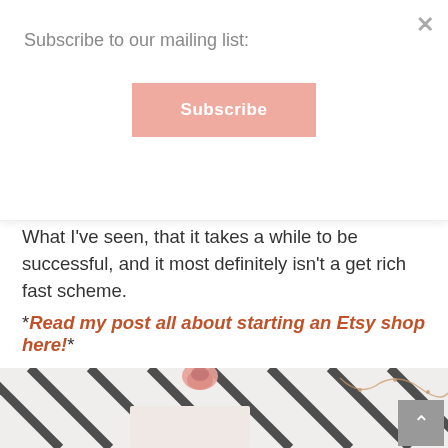Subscribe to our mailing list:
[Figure (other): Subscribe button with pink/salmon background]
What I've seen, that it takes a while to be successful, and it most definitely isn't a get rich fast scheme.
*Read my post all about starting an Etsy shop here!*
[Figure (photo): Flatlay photo of striped fabric with a pink rose bud, a pale pink card/envelope, and copper fairy lights with string detail]